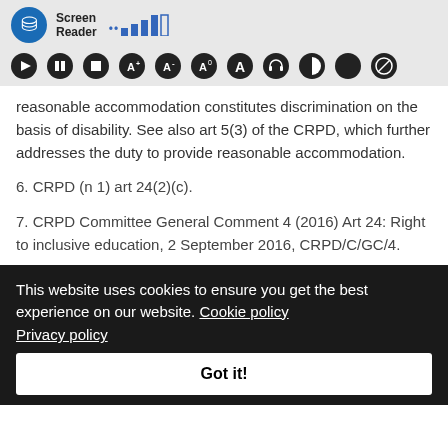[Figure (screenshot): Screen Reader accessibility toolbar with icon, signal bars, and control buttons including play, pause, stop, font size controls, and display settings]
reasonable accommodation constitutes discrimination on the basis of disability. See also art 5(3) of the CRPD, which further addresses the duty to provide reasonable accommodation.
6. CRPD (n 1) art 24(2)(c).
7. CRPD Committee General Comment 4 (2016) Art 24: Right to inclusive education, 2 September 2016, CRPD/C/GC/4.
This website uses cookies to ensure you get the best experience on our website. Cookie policy Privacy policy
Got it!